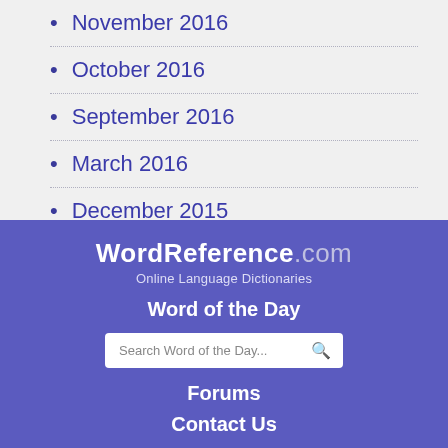November 2016
October 2016
September 2016
March 2016
December 2015
October 2015
WordReference.com
Online Language Dictionaries
Word of the Day
Search Word of the Day...
Forums
Contact Us